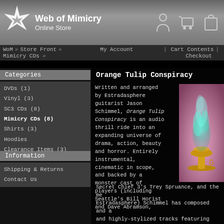Web of Mimicry Online Store
WoM » Store Front » My Account | Cart Contents | Mimicry CDs » Checkout
Categories
DVDs (1)
Vinyl (3)
SC3 CDs (8)
Mimicry CDs (8)
Shirts (3)
Hoodies
Clearance Items (3)
Information
Shipping & Returns
Contact Us
Orange Tulip Conspiracy
Written and arranged by Estradasphere guitarist Jason Schimmel, Orange Tulip Conspiracy is an audio thrill ride into an expanding universe of drama, action, beauty and horror. Entirely instrumental, cinematic in scope, and backed by a monster cast of players (including Seattle's Bill Horist and Dave Abramson, Secret Chief 3's Trey Spruance, and the me Estradasphere) Schimmel has composed and a and highly-stylized tracks featuring count
[Figure (photo): Album cover or product image showing a glowing green smoke or flame rising from a golden chalice/goblet against a colorful blurred background]